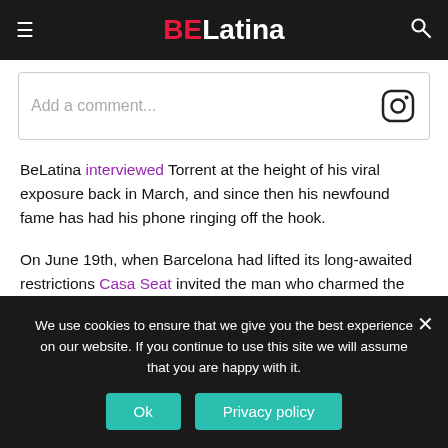BELatina
[Figure (screenshot): Instagram comment input box with placeholder text 'Add a comment...' and Instagram icon]
BeLatina interviewed Torrent at the height of his viral exposure back in March, and since then his newfound fame has had his phone ringing off the hook.
On June 19th, when Barcelona had lifted its long-awaited restrictions Casa Seat invited the man who charmed the world with his soulful sax to perform at its new and posh location, albeit with a limited number of people, masks
We use cookies to ensure that we give you the best experience on our website. If you continue to use this site we will assume that you are happy with it.